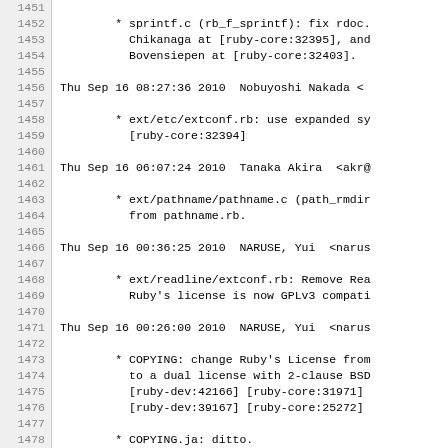Git changelog excerpt showing commits 1451-1480, including entries for sprintf.c fix, ext/etc/extconf.rb, ext/pathname/pathname.c, ext/readline/extconf.rb, COPYING license changes, and BSDL additions.